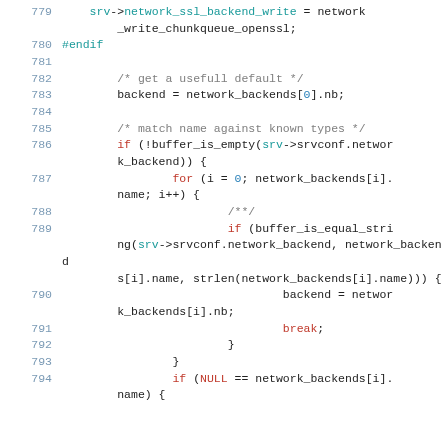[Figure (screenshot): Source code listing showing C code lines 779-794 with syntax highlighting. Line numbers in blue-grey, keywords in red, comments in grey, numeric literals in blue.]